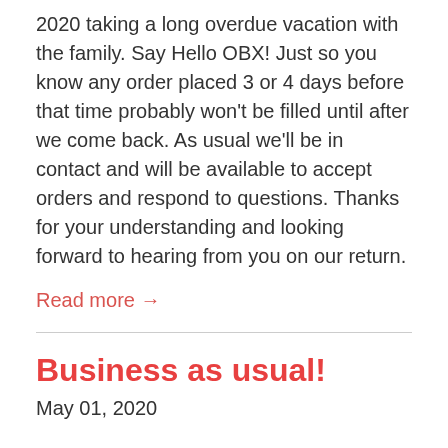2020 taking a long overdue vacation with the family.  Say Hello OBX!  Just so you know any order placed 3 or 4 days before that time probably won't be filled until after we come back.  As usual we'll be in contact and will be available to accept orders and respond to questions. Thanks for your understanding and looking forward to hearing from you on our return.
Read more →
Business as usual!
May 01, 2020